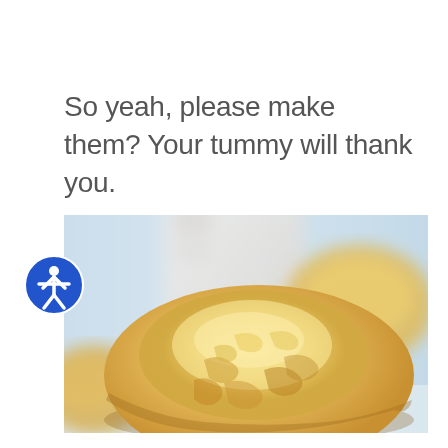So yeah, please make them? Your tummy will thank you.
[Figure (photo): Close-up photo of a soft, puffy yellow sugar cookie in the foreground, with more cookies and a white ceramic mug visible in the blurred background on a light blue surface.]